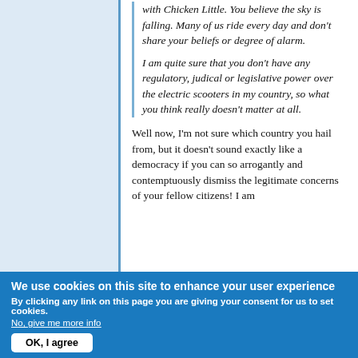with Chicken Little. You believe the sky is falling. Many of us ride every day and don't share your beliefs or degree of alarm.

I am quite sure that you don't have any regulatory, judical or legislative power over the electric scooters in my country, so what you think really doesn't matter at all.
Well now, I'm not sure which country you hail from, but it doesn't sound exactly like a democracy if you can so arrogantly and contemptuously dismiss the legitimate concerns of your fellow citizens! I am
We use cookies on this site to enhance your user experience
By clicking any link on this page you are giving your consent for us to set cookies.
No, give me more info
OK, I agree